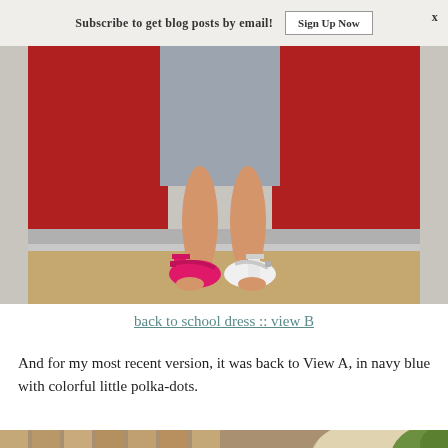Subscribe to get blog posts by email!  Sign Up Now
[Figure (photo): Child's legs wearing mismatched sandals — one hot pink and one white — standing on a step in front of a red door, wearing a gray dress]
back to school dress :: view B
And for my most recent version, it was back to View A, in navy blue with colorful little polka-dots.
[Figure (photo): Partial view of a child with light hair standing near a wooden fence, shown from behind]